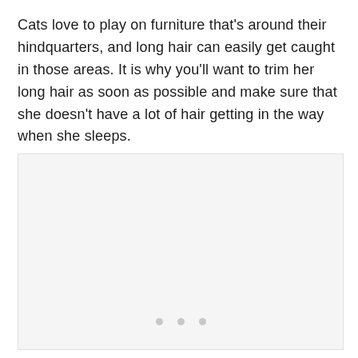Cats love to play on furniture that's around their hindquarters, and long hair can easily get caught in those areas. It is why you'll want to trim her long hair as soon as possible and make sure that she doesn't have a lot of hair getting in the way when she sleeps.
[Figure (photo): A large light gray placeholder image box with three small gray dots centered near the bottom, indicating a loading or missing image.]